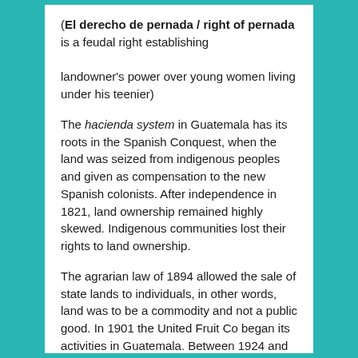(El derecho de pernada / right of pernada is a feudal right establishing landowner's power over young women living under his teenier)
The hacienda system in Guatemala has its roots in the Spanish Conquest, when the land was seized from indigenous peoples and given as compensation to the new Spanish colonists. After independence in 1821, land ownership remained highly skewed. Indigenous communities lost their rights to land ownership.
The agrarian law of 1894 allowed the sale of state lands to individuals, in other words, land was to be a commodity and not a public good. In 1901 the United Fruit Co began its activities in Guatemala. Between 1924 and 1930. The company paid only a small tax on its exports and earned its profits tax free, and it was also made exempt from existing labor laws.